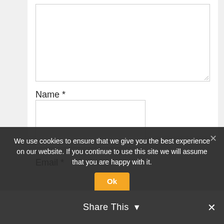[Figure (screenshot): Large empty textarea input box with resize handle at bottom right]
Name *
[Figure (screenshot): Name text input field, empty]
Email *
We use cookies to ensure that we give you the best experience on our website. If you continue to use this site we will assume that you are happy with it.
[Figure (screenshot): Ok button with orange top portion]
Share This